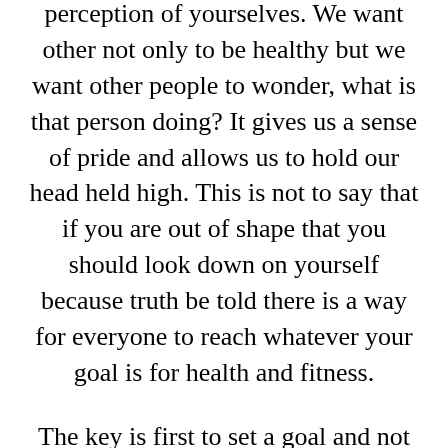perception of yourselves. We want other not only to be healthy but we want other people to wonder, what is that person doing? It gives us a sense of pride and allows us to hold our head held high. This is not to say that if you are out of shape that you should look down on yourself because truth be told there is a way for everyone to reach whatever your goal is for health and fitness.
The key is first to set a goal and not to make it to far out of the scope that you get discouraged, you want to be able to achieve your goal so that you can set another goal and keep getting further and further until you are where you want to be. Once you